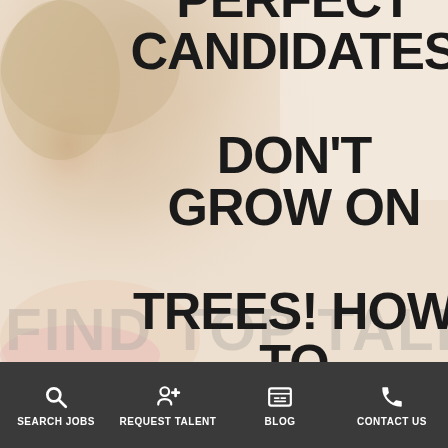[Figure (photo): A woman with blonde hair smiling, used as a hero background image for a recruitment/staffing website. Large bold text overlay reads 'PERFECT CANDIDATES DON'T GROW ON TREES! HOW TO'. Faded text 'FIND TOP TALENT' visible at the bottom of the hero area.]
PERFECT CANDIDATES DON'T GROW ON TREES! HOW TO
SEARCH JOBS | REQUEST TALENT | BLOG | CONTACT US